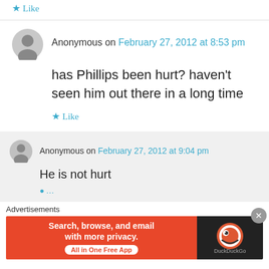★ Like
Anonymous on February 27, 2012 at 8:53 pm
has Phillips been hurt? haven't seen him out there in a long time
★ Like
Anonymous on February 27, 2012 at 9:04 pm
He is not hurt
Advertisements
[Figure (screenshot): DuckDuckGo advertisement banner: 'Search, browse, and email with more privacy. All in One Free App' with DuckDuckGo logo on dark background]